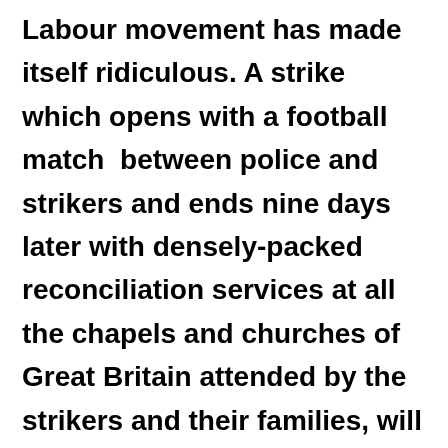Labour movement has made itself ridiculous. A strike which opens with a football match  between police and strikers and ends nine days later with densely-packed reconciliation services at all the chapels and churches of Great Britain attended by the strikers and their families, will make the continental Socialists blaspheme. Without a shot fired or a life lost … the General Strike of